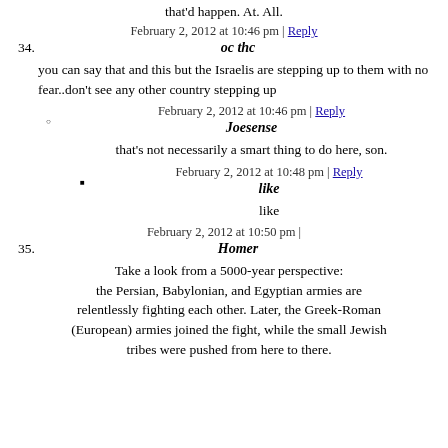that'd happen. At. All.
February 2, 2012 at 10:46 pm | Reply
34. oc thc
you can say that and this but the Israelis are stepping up to them with no fear..don't see any other country stepping up
February 2, 2012 at 10:46 pm | Reply
Joesense
that's not necessarily a smart thing to do here, son.
February 2, 2012 at 10:48 pm | Reply
like
like
February 2, 2012 at 10:50 pm |
35. Homer
Take a look from a 5000-year perspective: the Persian, Babylonian, and Egyptian armies are relentlessly fighting each other. Later, the Greek-Roman (European) armies joined the fight, while the small Jewish tribes were pushed from here to there.